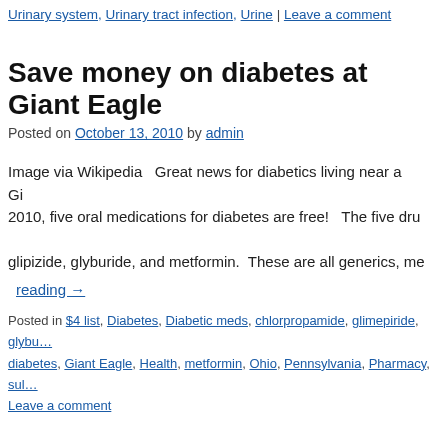Urinary system, Urinary tract infection, Urine | Leave a comment
Save money on diabetes at Giant Eagle
Posted on October 13, 2010 by admin
Image via Wikipedia   Great news for diabetics living near a Giant Eagle. Starting in 2010, five oral medications for diabetes are free!   The five drugs are glimepiride, glyburide, glipizide, glyburide, and metformin.  These are all generics, me… Continue reading →
Posted in $4 list, Diabetes, Diabetic meds, chlorpropamide, glimepiride, glybu… diabetes, Giant Eagle, Health, metformin, Ohio, Pennsylvania, Pharmacy, sul…
Leave a comment
Save ways to save money on sinusitis
Posted on October 13, 2010 by admin
Sinusitis is highly overrated. Picture this scenario. You're the o… hour to see you. He complains of congestion, headache, sinus p…